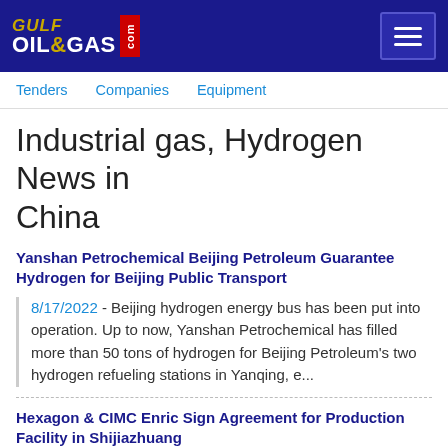GULF OIL&GAS .com
Tenders   Companies   Equipment
Industrial gas, Hydrogen News in China
Yanshan Petrochemical Beijing Petroleum Guarantee Hydrogen for Beijing Public Transport
8/17/2022 - Beijing hydrogen energy bus has been put into operation. Up to now, Yanshan Petrochemical has filled more than 50 tons of hydrogen for Beijing Petroleum's two hydrogen refueling stations in Yanqing, e...
Hexagon & CIMC Enric Sign Agreement for Production Facility in Shijiazhuang
3/28/2022 - Hexagon Purus and CIMC Enric have previously signed joint venture agreements in 2021 (ref: March 2, 2021, announcement) encompassing cylinder and systems production for Fuel Cell Electric Vehicles (FC...